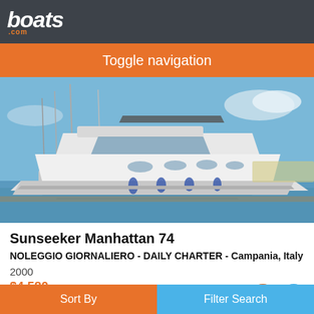boats.com
Toggle navigation
[Figure (photo): A large white Sunseeker Manhattan 74 motor yacht moored at a marina with sailboat masts visible in the background and blue sky with light clouds.]
Sunseeker Manhattan 74
NOLEGGIO GIORNALIERO - DAILY CHARTER - Campania, Italy
2000
$4,580
Seller Happy Yachts Srls
Sort By   Filter Search